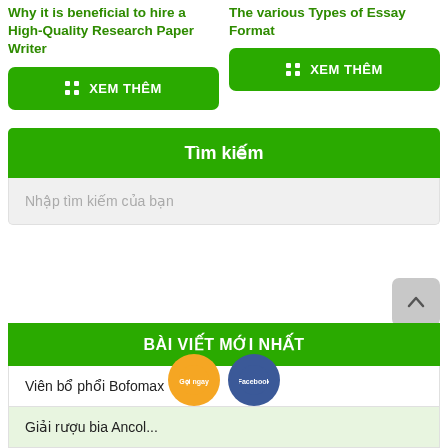Why it is beneficial to hire a High-Quality Research Paper Writer
The various Types of Essay Format
XEM THÊM
XEM THÊM
Tìm kiếm
Nhập tìm kiếm của bạn
BÀI VIẾT MỚI NHẤT
Viên bổ phổi Bofomax
Giải rượu bia Ancol...